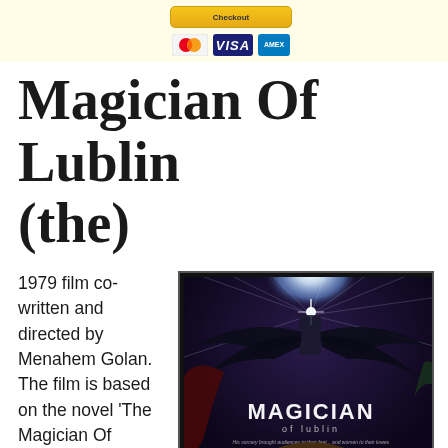[Figure (other): Header banner with payment method icons: MasterCard, VISA, American Express on a light yellow background]
Magician Of Lublin (the)
1979 film co-written and directed by Menahem Golan. The film is based on the novel 'The Magician Of Lublin' by Isaac Bashevis Si...
[Figure (photo): Movie poster for 'The Magician of Lublin' (1979) showing a dramatic figure with dark wings and a glowing star above, with a woman below, and cast credits at the bottom including Alan Arkin, Louise Fletcher, Valerie Perrine, Shelley Winters.]